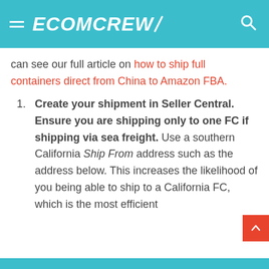ECOMCREW
can see our full article on how to ship full containers direct from China to Amazon FBA.
Create your shipment in Seller Central. Ensure you are shipping only to one FC if shipping via sea freight. Use a southern California Ship From address such as the address below. This increases the likelihood of you being able to ship to a California FC, which is the most efficient ...shipping from China (Amazon